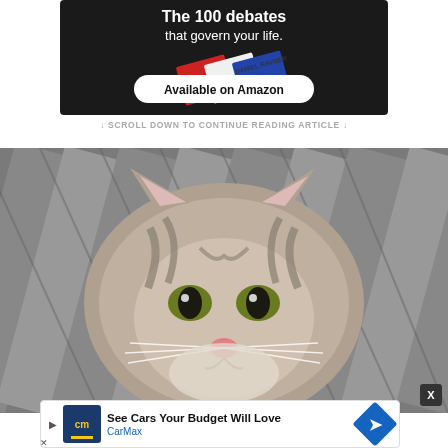[Figure (photo): Dark-background advertisement banner showing a book with text 'The 100 debates that govern your life.' and a white oval button reading 'Available on Amazon'. Author name Daniel Ravner visible on book spine.]
↓ SCROLL DOWN TO CONTINUE READING ARTICLE ↓
[Figure (photo): Close-up photograph of a fluffy grey tabby kitten lying on wooden deck boards, looking up at the camera with green/yellow eyes.]
[Figure (other): CarMax advertisement overlay with logo, text 'See Cars Your Budget Will Love' and brand name 'CarMax' in blue, with blue diamond arrow icon. Includes X close button.]